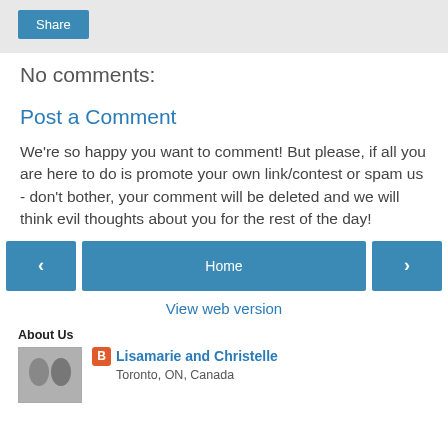[Figure (other): Share button area with gray background]
No comments:
Post a Comment
We're so happy you want to comment! But please, if all you are here to do is promote your own link/contest or spam us - don't bother, your comment will be deleted and we will think evil thoughts about you for the rest of the day!
[Figure (other): Navigation row with left arrow button, Home button, and right arrow button]
View web version
About Us
[Figure (photo): Small photo of Lisamarie and Christelle with Blogger icon and author name and location]
Lisamarie and Christelle
Toronto, ON, Canada